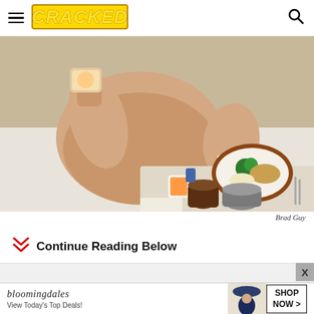CRACKED
[Figure (photo): A shirtless man lying in a hospital bed holding up what appears to be a food package, with a hospital meal tray beside him containing a plate with broccoli and other food items, cups, and a drink container.]
Brad Guy
Continue Reading Below
[Figure (screenshot): Advertisement area with close button X]
[Figure (screenshot): Bloomingdale's advertisement: bloomingdales, View Today's Top Deals! SHOP NOW >]